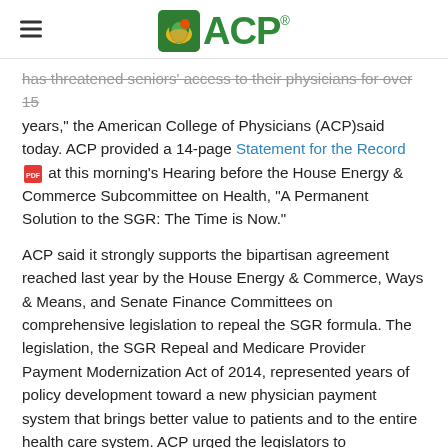ACP (American College of Physicians) logo header with hamburger menu
has threatened seniors' access to their physicians for over 15 years," the American College of Physicians (ACP)said today. ACP provided a 14-page Statement for the Record [PDF] at this morning's Hearing before the House Energy & Commerce Subcommittee on Health, "A Permanent Solution to the SGR: The Time is Now."
ACP said it strongly supports the bipartisan agreement reached last year by the House Energy & Commerce, Ways & Means, and Senate Finance Committees on comprehensive legislation to repeal the SGR formula. The legislation, the SGR Repeal and Medicare Provider Payment Modernization Act of 2014, represented years of policy development toward a new physician payment system that brings better value to patients and to the entire health care system. ACP urged the legislators to reintroduce and expedite this legislation to the floor for a vote and work with their colleagues to enact it before the current SGR patch expires at the end of March